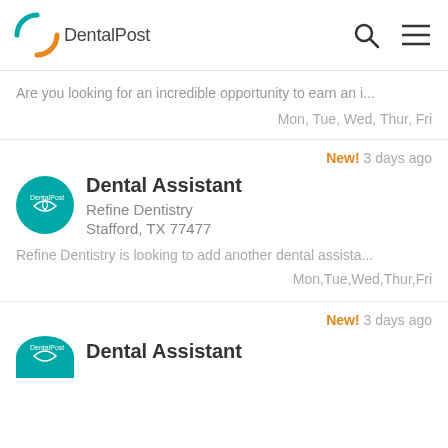DentalPost
Are you looking for an incredible opportunity to earn an i...
Mon, Tue, Wed, Thur, Fri
New!  3 days ago
Dental Assistant
Refine Dentistry
Stafford, TX 77477
Refine Dentistry is looking to add another dental assista...
Mon,Tue,Wed,Thur,Fri
New!  3 days ago
Dental Assistant